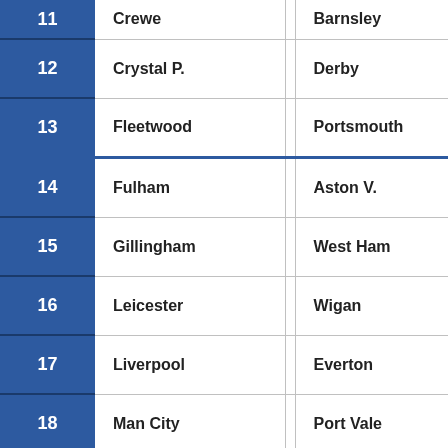| # | Team (Home) |  | Team (Away) |
| --- | --- | --- | --- |
| 11 | Crewe |  | Barnsley |
| 12 | Crystal P. |  | Derby |
| 13 | Fleetwood |  | Portsmouth |
| 14 | Fulham |  | Aston V. |
| 15 | Gillingham |  | West Ham |
| 16 | Leicester |  | Wigan |
| 17 | Liverpool |  | Everton |
| 18 | Man City |  | Port Vale |
| 19 | Middlesboro |  | Tottenham |
| 20 | Millwall |  | Newport Co. |
| 21 | Oxford |  | Hartlepool |
| 22 | Preston |  | Norwich |